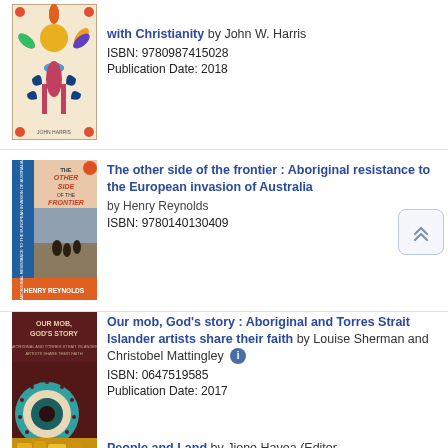[Figure (illustration): Book cover for a book by John W. Harris featuring Aboriginal art motifs with colorful sun/bird design]
with Christianity by John W. Harris
ISBN: 9780987415028
Publication Date: 2018
[Figure (illustration): Book cover for 'The other side of the frontier' by Henry Reynolds, Penguin edition, showing historical scene]
The other side of the frontier : Aboriginal resistance to the European invasion of Australia by Henry Reynolds
ISBN: 9780140130409
[Figure (illustration): Book cover for 'Our mob, God's story' featuring Aboriginal art with dark red and teal circular patterns]
Our mob, God's story : Aboriginal and Torres Strait Islander artists share their faith by Louise Sherman and Christobel Mattingley
ISBN: 0647519585
Publication Date: 2017
[Figure (illustration): Book cover for 'People and Land' featuring yellow/golden texture]
People and Land by Jione Havea (Editor,